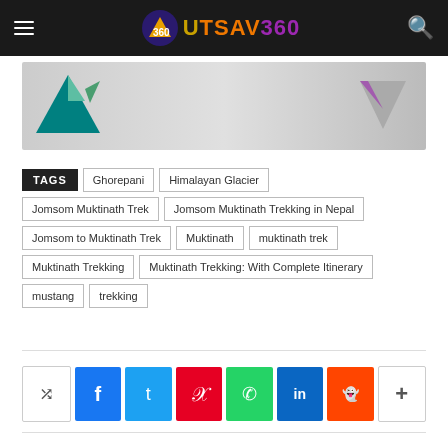UTSAV360
[Figure (other): Advertisement banner with mountain/triangle logo on left and downward triangle logo on right]
TAGS: Ghorepani, Himalayan Glacier, Jomsom Muktinath Trek, Jomsom Muktinath Trekking in Nepal, Jomsom to Muktinath Trek, Muktinath, muktinath trek, Muktinath Trekking, Muktinath Trekking: With Complete Itinerary, mustang, trekking
[Figure (other): Social sharing bar with share, Facebook, Twitter, Pinterest, WhatsApp, LinkedIn, Reddit, and more buttons]